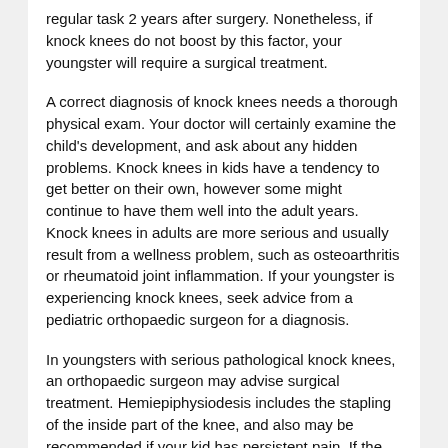regular task 2 years after surgery. Nonetheless, if knock knees do not boost by this factor, your youngster will require a surgical treatment.
A correct diagnosis of knock knees needs a thorough physical exam. Your doctor will certainly examine the child's development, and ask about any hidden problems. Knock knees in kids have a tendency to get better on their own, however some might continue to have them well into the adult years. Knock knees in adults are more serious and usually result from a wellness problem, such as osteoarthritis or rheumatoid joint inflammation. If your youngster is experiencing knock knees, seek advice from a pediatric orthopaedic surgeon for a diagnosis.
In youngsters with serious pathological knock knees, an orthopaedic surgeon may advise surgical treatment. Hemiepiphysiodesis includes the stapling of the inside part of the knee, and also may be recommended if your kid has persistent pain. If the knock knee has weakened to the point where you can not walk, you will likely require a bone realignment surgical procedure. However, it...